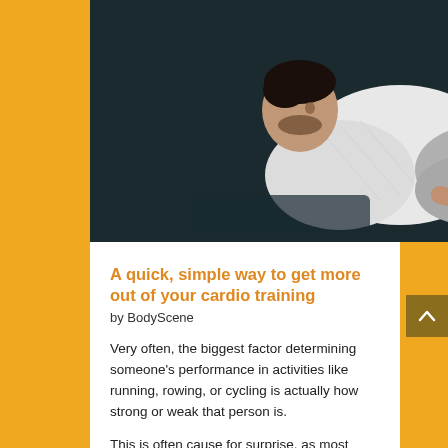[Figure (photo): A man in a white compression shirt using a rowing/leg press machine in a dark gym, photographed from above at an angle. Gym equipment including weights visible in background.]
A quick, simple way to get more out of your cardio training
by BodyScene
Very often, the biggest factor determining someone's performance in activities like running, rowing, or cycling is actually how strong or weak that person is.
This is often cause for surprise, as most people